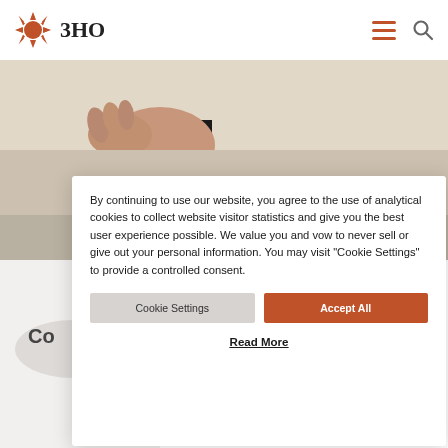3HO
[Figure (photo): Person performing a yoga or stretching pose, arms extended, wearing white clothing, indoors]
By continuing to use our website, you agree to the use of analytical cookies to collect website visitor statistics and give you the best user experience possible. We value you and vow to never sell or give out your personal information. You may visit "Cookie Settings" to provide a controlled consent.
Cookie Settings
Accept All
Read More